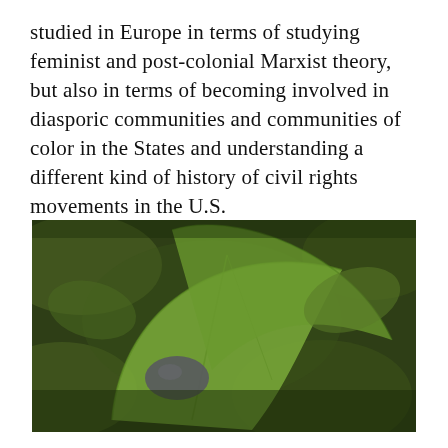studied in Europe in terms of studying feminist and post-colonial Marxist theory, but also in terms of becoming involved in diasporic communities and communities of color in the States and understanding a different kind of history of civil rights movements in the U.S.
[Figure (photo): Close-up photograph of large green leaves with a small dark grey stone or object visible among dense green foliage]